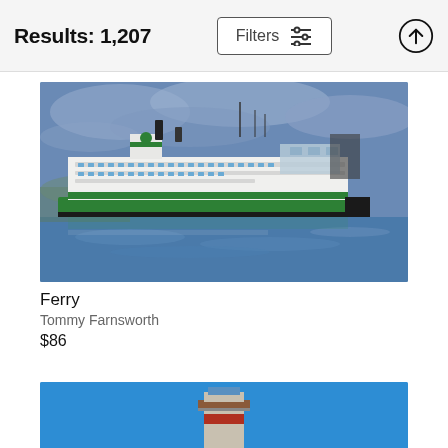Results: 1,207
[Figure (photo): A large white and green Washington State Ferry on blue water with a cloudy sky background]
Ferry
Tommy Farnsworth
$86
[Figure (photo): Partial view of a lighthouse against a clear blue sky]